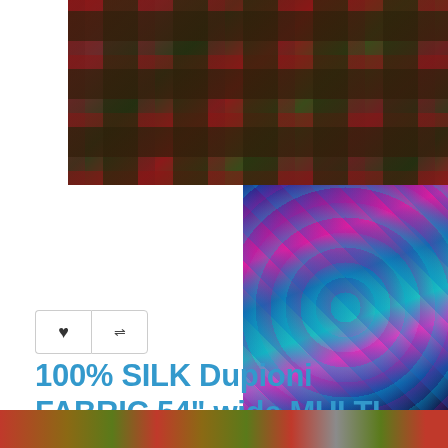[Figure (photo): Close-up of multi-color plaid silk fabric in red, dark brown/maroon, and olive green checks/plaids pattern]
[Figure (photo): Colorful patterned fabric draped showing geometric designs in blue, magenta/pink, teal colors]
[Figure (photo): Bottom strip showing various colored fabric swatches]
100% SILK Dupioni FABRIC 54" wide MULTI color plaids DUPC110[4]
Product Code: DUP#C110[4]
Availability: In Stock